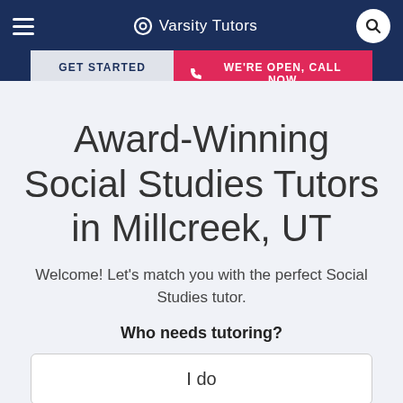Varsity Tutors
GET STARTED
WE'RE OPEN, CALL NOW
Award-Winning Social Studies Tutors in Millcreek, UT
Welcome! Let's match you with the perfect Social Studies tutor.
Who needs tutoring?
I do